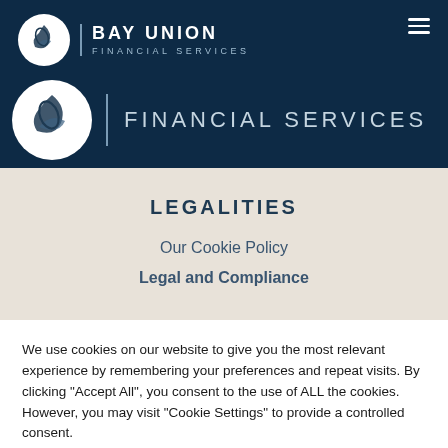[Figure (logo): Bay Union Financial Services logo with circular emblem on dark navy header background, showing company name and 'Financial Services' subtitle. A larger version of the circular emblem appears below with 'FINANCIAL SERVICES' text.]
LEGALITIES
Our Cookie Policy
Legal and Compliance
We use cookies on our website to give you the most relevant experience by remembering your preferences and repeat visits. By clicking "Accept All", you consent to the use of ALL the cookies. However, you may visit "Cookie Settings" to provide a controlled consent.